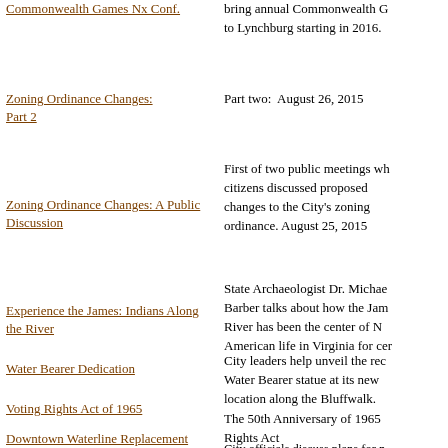Commonwealth Games Nx Conf.
bring annual Commonwealth G... to Lynchburg starting in 2016.
Zoning Ordinance Changes: Part 2
Part two:  August 26, 2015
Zoning Ordinance Changes: A Public Discussion
First of two public meetings wh... citizens discussed proposed changes to the City's zoning ordinance. August 25, 2015
Experience the James: Indians Along the River
State Archaeologist Dr. Michae... Barber talks about how the Jam... River has been the center of N... American life in Virginia for cer...
Water Bearer Dedication
City leaders help unveil the rec... Water Bearer statue at its new location along the Bluffwalk.
Voting Rights Act of 1965
The 50th Anniversary of 1965 ... Rights Act
Downtown Waterline Replacement Public Meeting
City officials discuss plans for n... utility replacement and streets... projects in the downtown area...